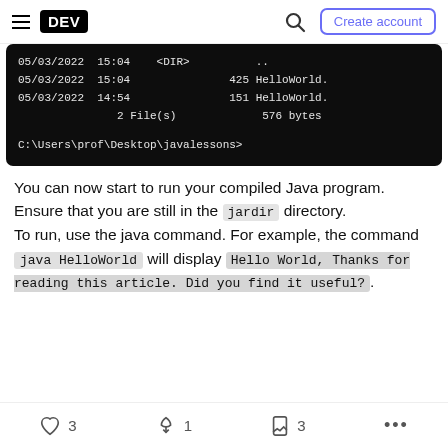DEV | Create account
[Figure (screenshot): Terminal window showing directory listing output with files HelloWorld and a command prompt at C:\Users\prof\Desktop\javalessons>]
You can now start to run your compiled Java program. Ensure that you are still in the jardir directory.
To run, use the java command. For example, the command java HelloWorld will display Hello World, Thanks for reading this article. Did you find it useful?.
3 likes  1 unicorn  3 bookmarks  ...